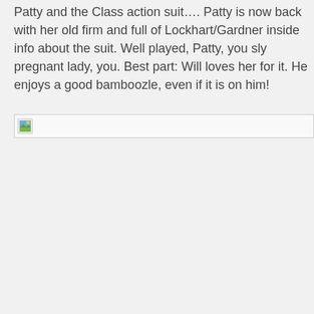Patty and the Class action suit…. Patty is now back with her old firm and full of Lockhart/Gardner inside info about the suit. Well played, Patty, you sly pregnant lady, you. Best part: Will loves her for it. He enjoys a good bamboozle, even if it is on him!
[Figure (photo): Broken image placeholder icon with a small landscape thumbnail icon (green hill, blue sky) in a bordered box]